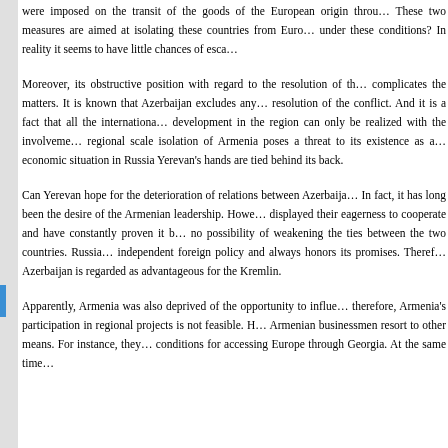were imposed on the transit of the goods of the European origin throu... These two measures are aimed at isolating these countries from Euro... under these conditions? In reality it seems to have little chances of esca...
Moreover, its obstructive position with regard to the resolution of th... complicates the matters. It is known that Azerbaijan excludes any... resolution of the conflict. And it is a fact that all the internationa... development in the region can only be realized with the involveme... regional scale isolation of Armenia poses a threat to its existence as a... economic situation in Russia Yerevan's hands are tied behind its back.
Can Yerevan hope for the deterioration of relations between Azerbaija... In fact, it has long been the desire of the Armenian leadership. Howe... displayed their eagerness to cooperate and have constantly proven it b... no possibility of weakening the ties between the two countries. Russia... independent foreign policy and always honors its promises. Theref... Azerbaijan is regarded as advantageous for the Kremlin.
Apparently, Armenia was also deprived of the opportunity to influe... therefore, Armenia's participation in regional projects is not feasible. H... Armenian businessmen resort to other means. For instance, they... conditions for accessing Europe through Georgia. At the same time...